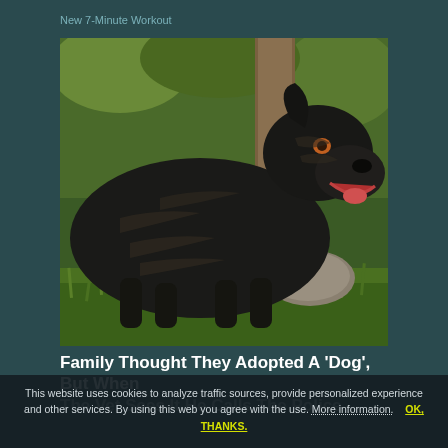New 7-Minute Workout
[Figure (photo): A large black Cane Corso dog with brindle stripe markings stands outdoors in green grass, facing right with mouth open, showing teeth. A tree trunk and green foliage are visible in the background, along with a rock near the dog.]
Family Thought They Adopted A 'Dog', But When The Vet Sees It He Calls The Police
This website uses cookies to analyze traffic sources, provide personalized experience and other services. By using this web you agree with the use. More information.    OK, THANKS.